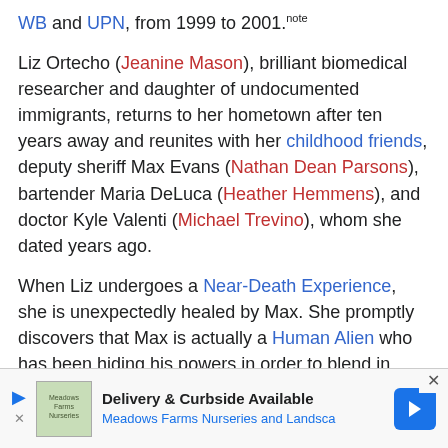WB and UPN, from 1999 to 2001.note
Liz Ortecho (Jeanine Mason), brilliant biomedical researcher and daughter of undocumented immigrants, returns to her hometown after ten years away and reunites with her childhood friends, deputy sheriff Max Evans (Nathan Dean Parsons), bartender Maria DeLuca (Heather Hemmens), and doctor Kyle Valenti (Michael Trevino), whom she dated years ago.
When Liz undergoes a Near-Death Experience, she is unexpectedly healed by Max. She promptly discovers that Max is actually a Human Alien who has been hiding his powers in order to blend in. Although Liz promises to keep Max's secret, his siblings and fellow aliens Isobel (Lily Cowles), who was raised alongside him, and Michael Guerin (Michael Vlamis), who was adopted by a different family, a
[Figure (infographic): Advertisement bar: Meadows Farms Nurseries and Landscape — Delivery & Curbside Available]